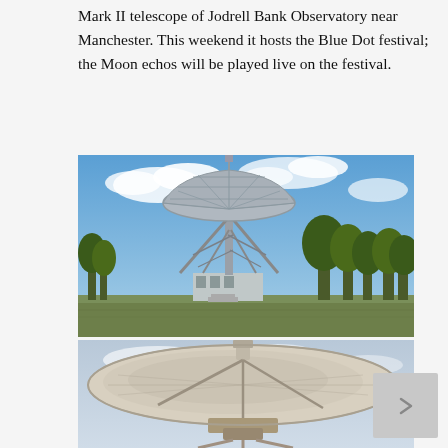Mark II telescope of Jodrell Bank Observatory near Manchester. This weekend it hosts the Blue Dot festival; the Moon echos will be played live on the festival.
[Figure (photo): Photograph of the Mark II radio telescope at Jodrell Bank Observatory — a large parabolic dish antenna on a steel lattice support structure, photographed against a blue sky with white clouds and trees in the background.]
[Figure (photo): Close-up photograph of a large parabolic radio telescope dish, white/cream colored, viewed from below and slightly to the side against a pale blue sky.]